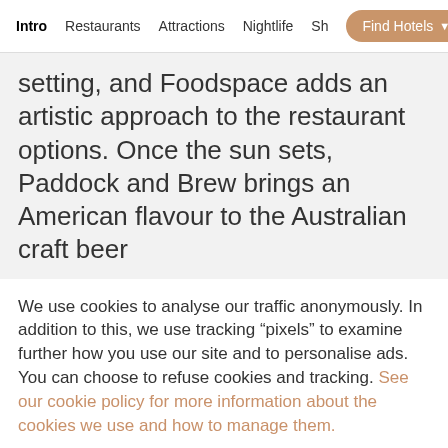Intro  Restaurants  Attractions  Nightlife  Sh  Find Hotels
setting, and Foodspace adds an artistic approach to the restaurant options. Once the sun sets, Paddock and Brew brings an American flavour to the Australian craft beer
We use cookies to analyse our traffic anonymously. In addition to this, we use tracking “pixels” to examine further how you use our site and to personalise ads. You can choose to refuse cookies and tracking. See our cookie policy for more information about the cookies we use and how to manage them.
Refuse
Accept